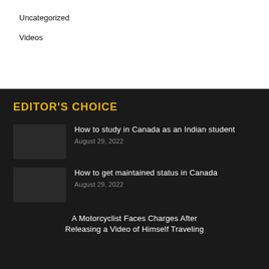Uncategorized
Videos
EDITOR'S CHOICE
How to study in Canada as an Indian student
August 29, 2022
How to get maintained status in Canada
August 29, 2022
A Motorcyclist Faces Charges After Releasing a Video of Himself Traveling